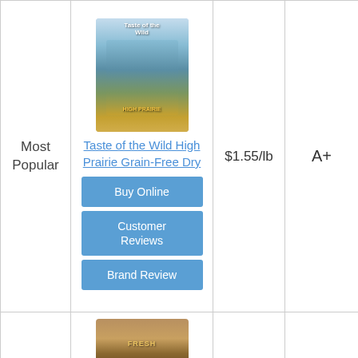[Figure (photo): Taste of the Wild High Prairie dog food bag product photo]
Taste of the Wild High Prairie Grain-Free Dry
Most Popular
$1.55/lb
A+
Buy Online
Customer Reviews
Brand Review
[Figure (photo): Second dog food product bag, partially visible at bottom]